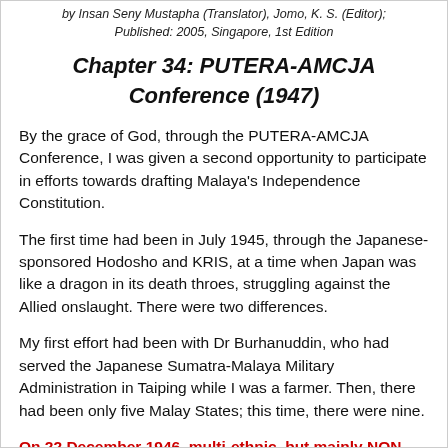by Insan Seny Mustapha (Translator), Jomo, K. S. (Editor); Published: 2005, Singapore, 1st Edition
Chapter 34: PUTERA-AMCJA Conference (1947)
By the grace of God, through the PUTERA-AMCJA Conference, I was given a second opportunity to participate in efforts towards drafting Malaya's Independence Constitution.
The first time had been in July 1945, through the Japanese-sponsored Hodosho and KRIS, at a time when Japan was like a dragon in its death throes, struggling against the Allied onslaught. There were two differences.
My first effort had been with Dr Burhanuddin, who had served the Japanese Sumatra-Malaya Military Administration in Taiping while I was a farmer. Then, there had been only five Malay States; this time, there were nine.
On 22 December 1946, multi-ethnic, but mainly NON-